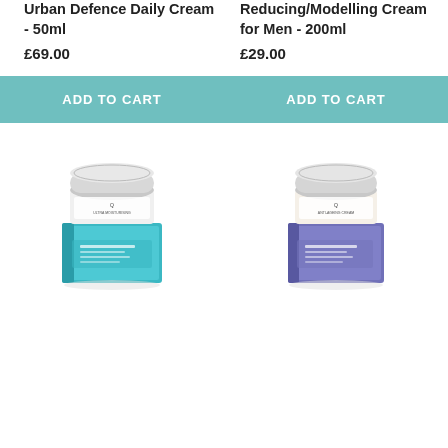Urban Defence Daily Cream - 50ml
£69.00
Reducing/Modelling Cream for Men - 200ml
£29.00
ADD TO CART
ADD TO CART
[Figure (photo): Jar of cream product with teal/blue packaging box]
[Figure (photo): Jar of cream product with purple/lavender packaging box]